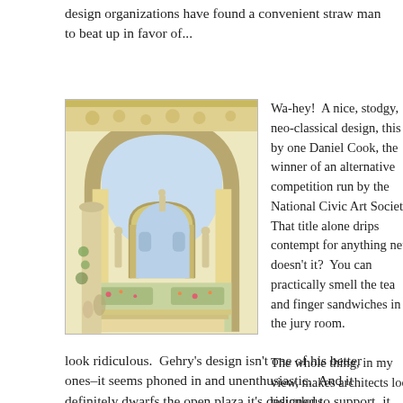design organizations have found a convenient straw man to beat up in favor of...
[Figure (illustration): A watercolor illustration of a neo-classical architectural design featuring a grand arch with columns, statues, ornate decorative elements, a triumphal arch in the background, and landscaped plaza with gardens in pastel/cream tones.]
Wa-hey!  A nice, stodgy, neo-classical design, this by one Daniel Cook, the winner of an alternative competition run by the National Civic Art Society.  That title alone drips contempt for anything new, doesn't it?  You can practically smell the tea and finger sandwiches in the jury room.

The whole thing, in my view, makes architects look ridiculous.
look ridiculous.  Gehry's design isn't one of his better ones–it seems phoned in and unenthusiastic.  And it definitely dwarfs the open plaza it's designed to support, it doesn't even have an argument